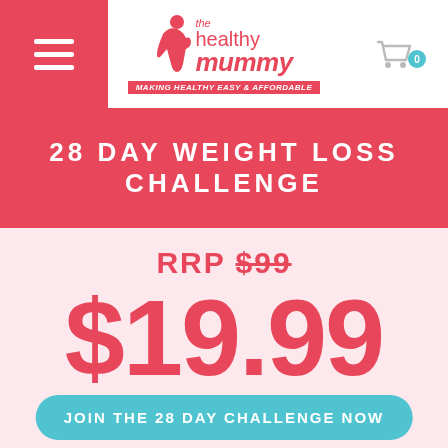[Figure (logo): The Healthy Mummy logo with pink figure and text, tagline 'Making Healthy Easy & Affordable']
28 DAY WEIGHT LOSS CHALLENGE
RRP $99
$19.99
A MONTH
JOIN THE 28 DAY CHALLENGE NOW